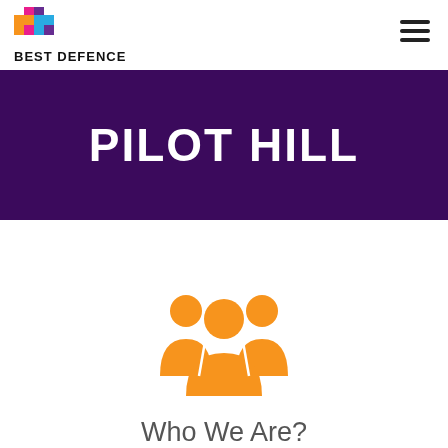[Figure (logo): Best Defence logo — pixelated multicolored icon above bold text BEST DEFENCE]
[Figure (illustration): Hamburger menu icon (three horizontal lines) in top right corner]
PILOT HILL
[Figure (illustration): Orange group/team icon showing three people silhouettes]
Who We Are?